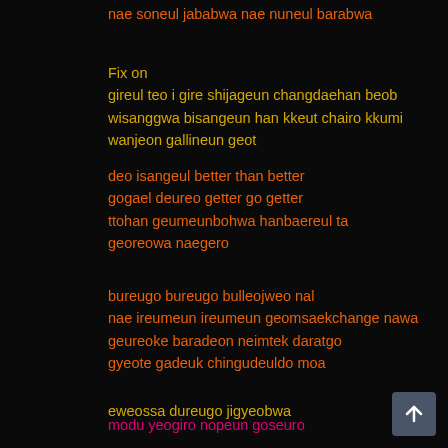nae soneul jababwa nae nuneul barabwa
Fix on
gireul teo i gire shijageun changdaehan beob
wisanggwa bisangeun han kkeut chairo kkumi wanjeon gallineun geot
deo isangeul better than better
gogael deureo getter go getter
ttohan geumeunbohwa hanbaereul ta
georeowa naegero
bureugo bureugo bulleojweo nal
nae ireumeun ireumeun geomsaekchange nawa
geureoke baradeon neimtek daratgo
gyeote gadeuk chingudeuldo moa
eweossa dureugo jigyeobwa
ireum ttak ne geulja yeogida
ti nage namgyeonwa
Zoom in here, Cause I'm the Captain
modu yeogiro nopeun goseuro